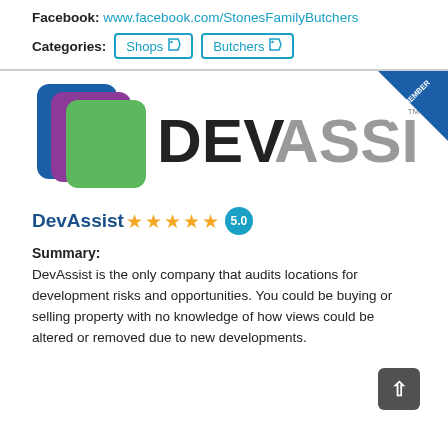Facebook: www.facebook.com/StonesFamilyButchers
Categories: Shops  Butchers
[Figure (logo): DevAssist company logo with stacked colored cards (blue, purple, green) and text 'DEVASSIST' with EGBA Member badge in top right corner]
DevAssist ★★★★★ 5.0
Summary:
DevAssist is the only company that audits locations for development risks and opportunities. You could be buying or selling property with no knowledge of how views could be altered or removed due to new developments.